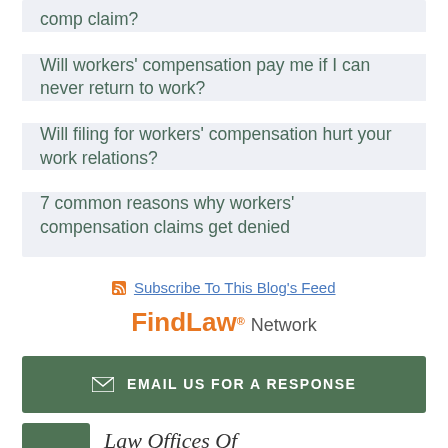comp claim?
Will workers' compensation pay me if I can never return to work?
Will filing for workers' compensation hurt your work relations?
7 common reasons why workers' compensation claims get denied
Subscribe To This Blog's Feed
FindLaw Network
EMAIL US FOR A RESPONSE
Law Offices Of